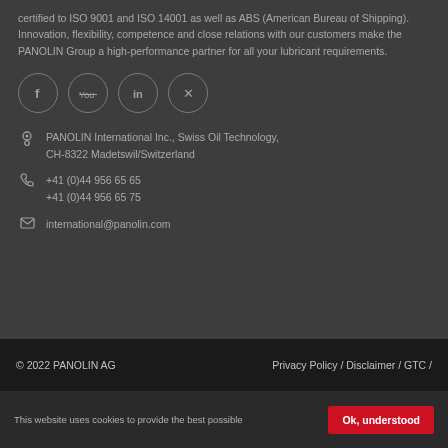certified to ISO 9001 and ISO 14001 as well as ABS (American Bureau of Shipping). Innovation, flexibility, competence and close relations with our customers make the PANOLIN Group a high-performance partner for all your lubricant requirements.
[Figure (illustration): Four social media icons in circles: Facebook (f), YouTube, LinkedIn (in), Xing (x)]
PANOLIN International Inc., Swiss Oil Technology, CH-8322 Madetswil/Switzerland
+41 (0)44 956 65 65
+41 (0)44 956 65 75
international@panolin.com
© 2022 PANOLIN AG    Privacy Policy / Disclaimer / GTC /
This website uses cookies to provide the best possible